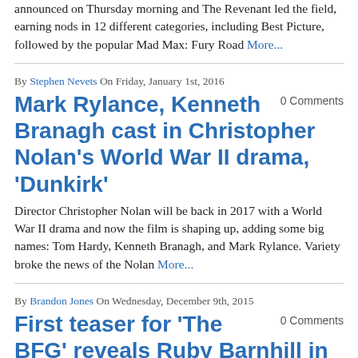announced on Thursday morning and The Revenant led the field, earning nods in 12 different categories, including Best Picture, followed by the popular Mad Max: Fury Road More...
By Stephen Nevets On Friday, January 1st, 2016
Mark Rylance, Kenneth Branagh cast in Christopher Nolan's World War II drama, 'Dunkirk'
0 Comments
Director Christopher Nolan will be back in 2017 with a World War II drama and now the film is shaping up, adding some big names: Tom Hardy, Kenneth Branagh, and Mark Rylance. Variety broke the news of the Nolan More...
By Brandon Jones On Wednesday, December 9th, 2015
First teaser for 'The BFG' reveals Ruby Barnhill in new Steven Spielberg film
0 Comments